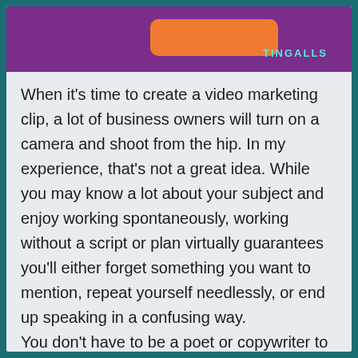[Figure (illustration): Purple banner with an orange rounded rectangle button shape and the text TINGALLS in teal/cyan color on the right side]
When it's time to create a video marketing clip, a lot of business owners will turn on a camera and shoot from the hip. In my experience, that's not a great idea. While you may know a lot about your subject and enjoy working spontaneously, working without a script or plan virtually guarantees you'll either forget something you want to mention, repeat yourself needlessly, or end up speaking in a confusing way. You don't have to be a poet or copywriter to come up with a good script for your